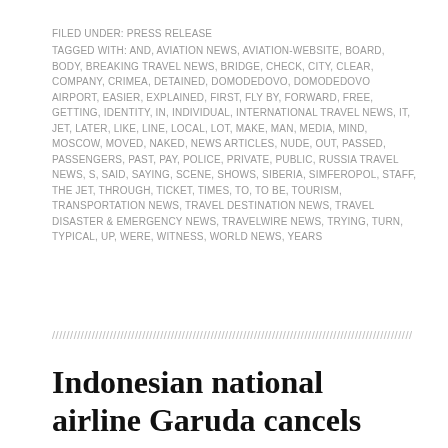FILED UNDER: PRESS RELEASE
TAGGED WITH: AND, AVIATION NEWS, AVIATION-WEBSITE, BOARD, BODY, BREAKING TRAVEL NEWS, BRIDGE, CHECK, CITY, CLEAR, COMPANY, CRIMEA, DETAINED, DOMODEDOVO, DOMODEDOVO AIRPORT, EASIER, EXPLAINED, FIRST, FLY BY, FORWARD, FREE, GETTING, IDENTITY, IN, INDIVIDUAL, INTERNATIONAL TRAVEL NEWS, IT, JET, LATER, LIKE, LINE, LOCAL, LOT, MAKE, MAN, MEDIA, MIND, MOSCOW, MOVED, NAKED, NEWS ARTICLES, NUDE, OUT, PASSED, PASSENGERS, PAST, PAY, POLICE, PRIVATE, PUBLIC, RUSSIA TRAVEL NEWS, S, SAID, SAYING, SCENE, SHOWS, SIBERIA, SIMFEROPOL, STAFF, THE JET, THROUGH, TICKET, TIMES, TO, TO BE, TOURISM, TRANSPORTATION NEWS, TRAVEL DESTINATION NEWS, TRAVEL DISASTER & EMERGENCY NEWS, TRAVELWIRE NEWS, TRYING, TURN, TYPICAL, UP, WERE, WITNESS, WORLD NEWS, YEARS
Indonesian national airline Garuda cancels